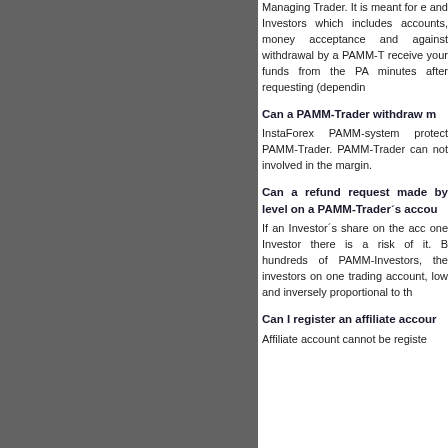Managing Trader. It is meant for e and Investors which includes accounts, money acceptance and against withdrawal by a PAMM-T receive your funds from the PA minutes after requesting (dependin
Can a PAMM-Trader withdraw m
InstaForex PAMM-system protect PAMM-Trader. PAMM-Trader can not involved in the margin.
Can a refund request made by level on a PAMM-Trader´s accou
If an Investor´s share on the acc one Investor there is a risk of it. B hundreds of PAMM-Investors, the investors on one trading account, low and inversely proportional to th
Can I register an affiliate accour
Affiliate account cannot be registe